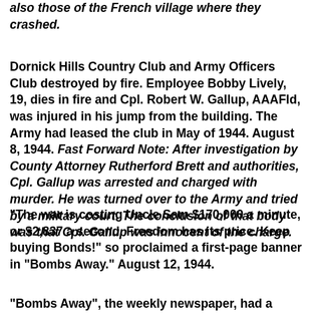also those of the French village where they crashed.
Dornick Hills Country Club and Army Officers Club destroyed by fire. Employee Bobby Lively, 19, dies in fire and Cpl. Robert W. Gallup, AAAFld, was injured in his jump from the building. The Army had leased the club in May of 1944. August 8, 1944. Fast Forward Note: After investigation by County Attorney Rutherford Brett and authorities, Cpl. Gallup was arrested and charged with murder. He was turned over to the Army and tried by a military court. The conclusion of that body was that Cpl. Gallup was innocent of the charge.
"The war is costing Uncle Sam $170,000 a minute, or $2,837 a second. Freedom has its price. Keep buying Bonds!" so proclaimed a first-page banner in "Bombs Away." August 12, 1944.
"Bombs Away", the weekly newspaper, had a